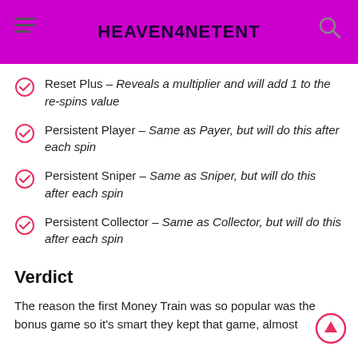HEAVEN4NETENT
Reset Plus – Reveals a multiplier and will add 1 to the re-spins value
Persistent Player – Same as Payer, but will do this after each spin
Persistent Sniper – Same as Sniper, but will do this after each spin
Persistent Collector – Same as Collector, but will do this after each spin
Verdict
The reason the first Money Train was so popular was the bonus game so it's smart they kept that game, almost